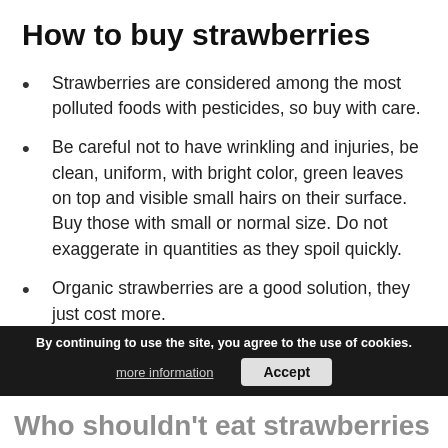How to buy strawberries
Strawberries are considered among the most polluted foods with pesticides, so buy with care.
Be careful not to have wrinkling and injuries, be clean, uniform, with bright color, green leaves on top and visible small hairs on their surface. Buy those with small or normal size. Do not exaggerate in quantities as they spoil quickly.
Organic strawberries are a good solution, they just cost more.
By continuing to use the site, you agree to the use of cookies. more information Accept
Who shouldn't eat strawberries